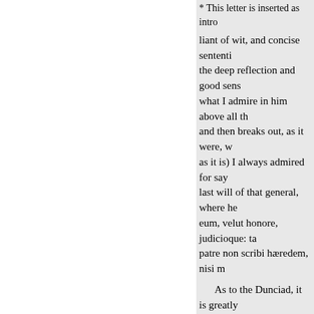* This letter is inserted as intro
liant of wit, and concise sententi the deep reflection and good sens what I admire in him above all th and then breaks out, as it were, w as it is) I always admired for say last will of that general, where he eum, velut honore, judicioque: ta patre non scribi hæredem, nisi m
As to the Dunciad, it is greatly of the virtuosos and florists, and metaphysician's part is to me the intelligible.
I take the liberty of sending yo would retrench it. Aceronia, you finished, it will be in the nature c scenés.
The speech herewith sent to M believe was begun the preceding favourite plays; and the admirabl